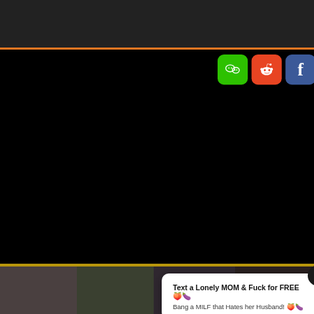[Figure (screenshot): Dark top image bar with orange bottom border]
[Figure (infographic): Row of social share buttons: WeChat (green), Reddit (orange-red), Facebook (blue), Twitter (blue), SMS (yellow), Share (green)]
[Figure (screenshot): Black content area - video player region]
[Figure (screenshot): Thumbnail images grid below gold bar]
Text a Lonely MOM & Fuck for FREE 🍑🍆
Bang a MILF that Hates her Husband! 🍑🍆
Emma (33) sent you a sex request📍Ashburn
Tap and get her contact 📍Ashburn 📍